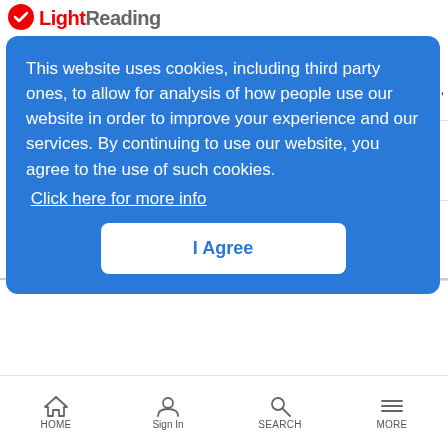Light Reading
This website uses cookies, including third party ones, to allow for analysis of how people use our website in order to improve your experience and our services. By continuing to use our website, you agree to the use of such cookies. Click here for more info
I Agree
ALSO COMING AND EVENTS
UPCOMING WEBINARS
August 30, 2022
Enable sustainable business growth with Cloud Metro
HOME  Sign In  SEARCH  MORE